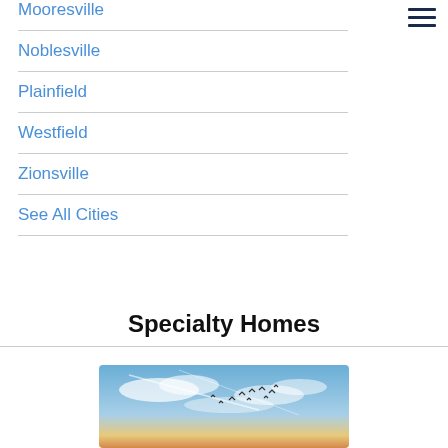Mooresville
Noblesville
Plainfield
Westfield
Zionsville
See All Cities
Specialty Homes
[Figure (photo): Sky with clouds and birds flying at sunset/dusk, warm golden horizon at bottom]